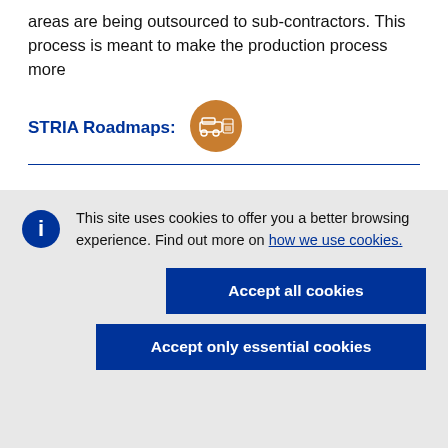areas are being outsourced to sub-contractors. This process is meant to make the production process more
STRIA Roadmaps:
[Figure (illustration): Orange circular icon depicting a vehicle/transport roadmap symbol with white line art]
This site uses cookies to offer you a better browsing experience. Find out more on how we use cookies.
Accept all cookies
Accept only essential cookies